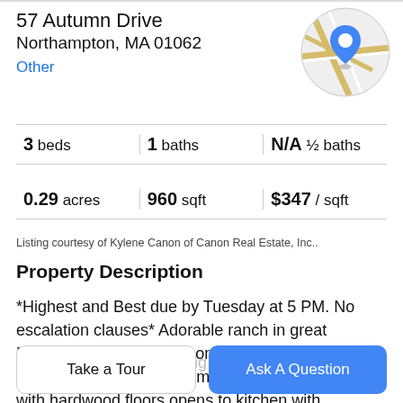57 Autumn Drive
Northampton, MA 01062
Other
[Figure (map): Circular map thumbnail showing a location pin marker on a street map]
| beds | baths | ½ baths |
| --- | --- | --- |
| 3 beds | 1 baths | N/A ½ baths |
| 0.29 acres | 960 sqft | $347 / sqft |
Listing courtesy of Kylene Canon of Canon Real Estate, Inc..
Property Description
*Highest and Best due by Tuesday at 5 PM. No escalation clauses* Adorable ranch in great Florence neighborhood convenient to both Northampton and Easthampton. Cozy living room with hardwood floors opens to kitchen with sliders to deck overlooking fenced in yard. Three